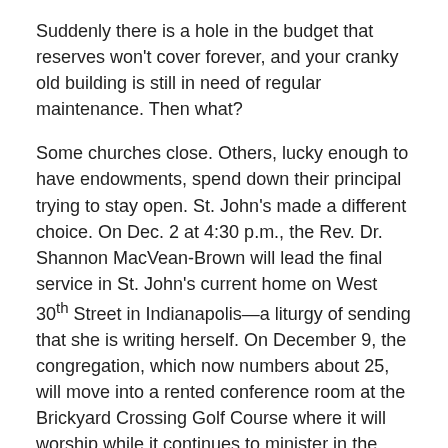Suddenly there is a hole in the budget that reserves won't cover forever, and your cranky old building is still in need of regular maintenance. Then what?
Some churches close. Others, lucky enough to have endowments, spend down their principal trying to stay open. St. John's made a different choice. On Dec. 2 at 4:30 p.m., the Rev. Dr. Shannon MacVean-Brown will lead the final service in St. John's current home on West 30th Street in Indianapolis—a liturgy of sending that she is writing herself. On December 9, the congregation, which now numbers about 25, will move into a rented conference room at the Brickyard Crossing Golf Course where it will worship while it continues to minister in the community.
This bold choice earned the parish praise in the convention address Bishop Jennifer Baskerville Burrows delivered earlier this month in Bloomington.